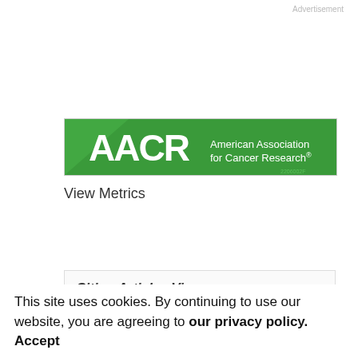Advertisement
[Figure (logo): AACR – American Association for Cancer Research logo on green background]
View Metrics
Citing Articles Via
Web of Science (201
CrossRef
This site uses cookies. By continuing to use our website, you are agreeing to our privacy policy. Accept